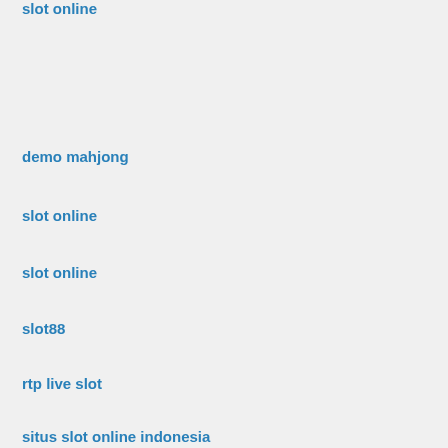slot online
demo mahjong
slot online
slot online
slot88
rtp live slot
situs slot online indonesia